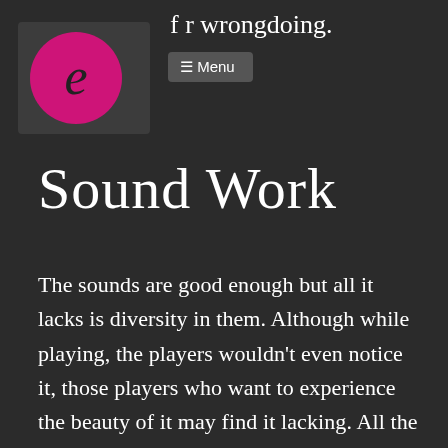f r wrongdoing.
[Figure (logo): Pink circular logo with stylized letter, inside a dark gray box]
≡ Menu
Sound Work
The sounds are good enough but all it lacks is diversity in them. Although while playing, the players wouldn't even notice it, those players who want to experience the beauty of it may find it lacking. All the vehicles have a very generic sound with little ups and downs. This makes the game